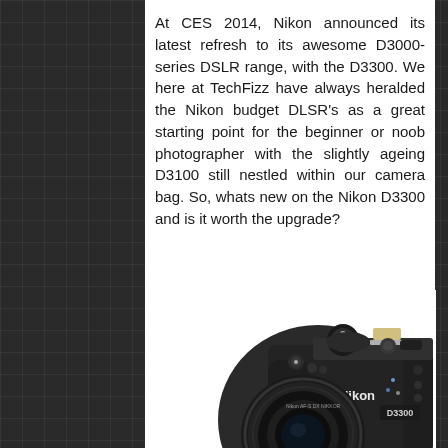At CES 2014, Nikon announced its latest refresh to its awesome D3000-series DSLR range, with the D3300. We here at TechFizz have always heralded the Nikon budget DLSR's as a great starting point for the beginner or noob photographer with the slightly ageing D3100 still nestled within our camera bag. So, whats new on the Nikon D3300 and is it worth the upgrade?
[Figure (photo): Nikon D3300 DSLR camera with Nikon AF-S DX Nikkor lens, shown from slightly above front-left angle. Dark grey/black body with D3300 label visible on front.]